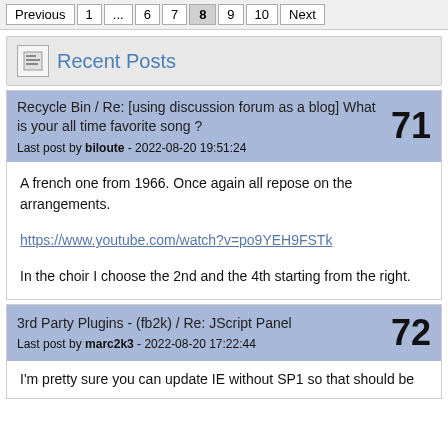Previous 1 ... 6 7 8 9 10 Next
Recent Posts
Recycle Bin / Re: [using discussion forum as a blog] What is your all time favorite song ?
Last post by biloute - 2022-08-20 19:51:24
71
A french one from 1966. Once again all repose on the arrangements.

https://www.youtube.com/watch?v=po9YEH9FSTk

In the choir I choose the 2nd and the 4th starting from the right.
3rd Party Plugins - (fb2k) / Re: JScript Panel
Last post by marc2k3 - 2022-08-20 17:22:44
72
I'm pretty sure you can update IE without SP1 so that should be